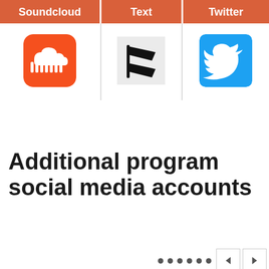| Soundcloud | Text | Twitter |
| --- | --- | --- |
| [SoundCloud icon] | [Text/Notify icon] | [Twitter icon] |
Additional program social media accounts
[Figure (infographic): Pagination dots and left/right arrow navigation buttons]
|  | Facebook |
| --- | --- |
| Menlo Park Events | [Facebook icon] |